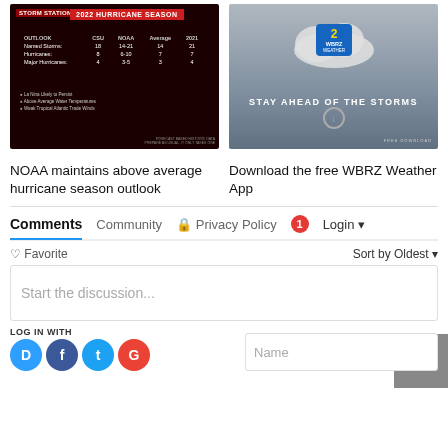[Figure (screenshot): 2022 Hurricane Season outlook table showing Named Storms, Hurricanes, Major Hurricanes with CSU, NOAA, Average, and 2021 columns]
[Figure (screenshot): WBRZ Weather app advertisement with cloud logo, text Stay Ahead of the Storms and Free Download]
NOAA maintains above average hurricane season outlook
Download the free WBRZ Weather App
Comments  Community  Privacy Policy  1  Login
Favorite  Sort by Oldest
Start the discussion...
LOG IN WITH
OR SIGN UP WITH DISQUS
Name